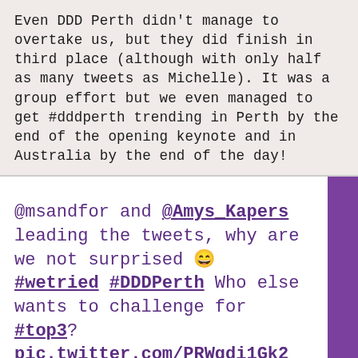Even DDD Perth didn't manage to overtake us, but they did finish in third place (although with only half as many tweets as Michelle). It was a group effort but we even managed to get #dddperth trending in Perth by the end of the opening keynote and in Australia by the end of the day!
@msandfor and @Amys_Kapers leading the tweets, why are we not surprised 😄 #wetried #DDDPerth Who else wants to challenge for #top3? pic.twitter.com/PRWqdi1Gk2